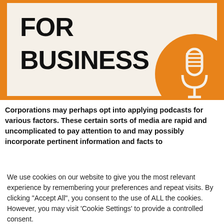[Figure (illustration): Podcast-for-business graphic: orange bordered box with bold text 'FOR BUSINESS' on cream background, large orange circle with white microphone illustration at right]
Corporations may perhaps opt into applying podcasts for various factors. These certain sorts of media are rapid and uncomplicated to pay attention to and may possibly incorporate pertinent information and facts to
We use cookies on our website to give you the most relevant experience by remembering your preferences and repeat visits. By clicking "Accept All", you consent to the use of ALL the cookies. However, you may visit 'Cookie Settings' to provide a controlled consent.